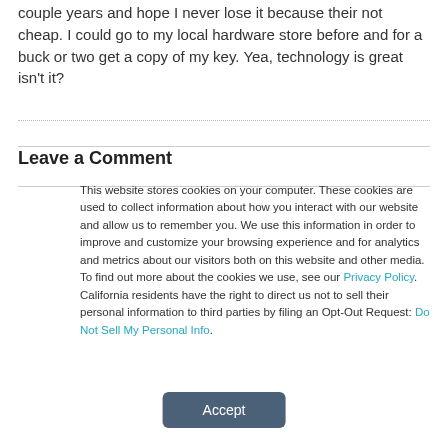couple years and hope I never lose it because their not cheap. I could go to my local hardware store before and for a buck or two get a copy of my key. Yea, technology is great isn't it?
Leave a Comment
This website stores cookies on your computer. These cookies are used to collect information about how you interact with our website and allow us to remember you. We use this information in order to improve and customize your browsing experience and for analytics and metrics about our visitors both on this website and other media. To find out more about the cookies we use, see our Privacy Policy. California residents have the right to direct us not to sell their personal information to third parties by filing an Opt-Out Request: Do Not Sell My Personal Info.